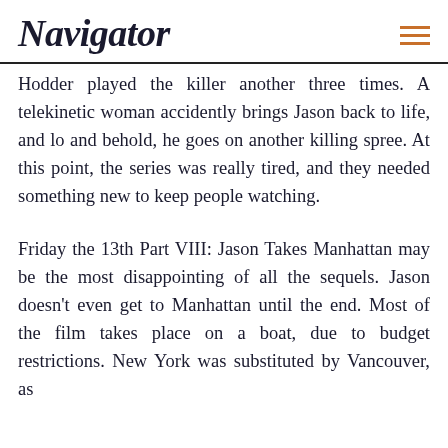Navigator
Hodder played the killer another three times. A telekinetic woman accidently brings Jason back to life, and lo and behold, he goes on another killing spree. At this point, the series was really tired, and they needed something new to keep people watching.
Friday the 13th Part VIII: Jason Takes Manhattan may be the most disappointing of all the sequels. Jason doesn't even get to Manhattan until the end. Most of the film takes place on a boat, due to budget restrictions. New York was substituted by Vancouver, as